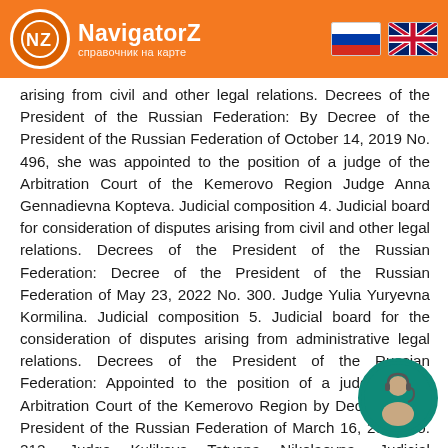NavigatorZ — справочник на карте
arising from civil and other legal relations. Decrees of the President of the Russian Federation: By Decree of the President of the Russian Federation of October 14, 2019 No. 496, she was appointed to the position of a judge of the Arbitration Court of the Kemerovo Region Judge Anna Gennadievna Kopteva. Judicial composition 4. Judicial board for consideration of disputes arising from civil and other legal relations. Decrees of the President of the Russian Federation: Decree of the President of the Russian Federation of May 23, 2022 No. 300. Judge Yulia Yuryevna Kormilina. Judicial composition 5. Judicial board for the consideration of disputes arising from administrative legal relations. Decrees of the President of the Russian Federation: Appointed to the position of a judge of the Arbitration Court of the Kemerovo Region by Decree of the President of the Russian Federation of March 16, 2006 No. 212. Judge Kulikova Tatyana Nikolaevna. Judicial composition 7. Judicial board for consideration of disputes arising from civil and other legal relations. Decrees of the President of the Russian Federation: By Decree of the